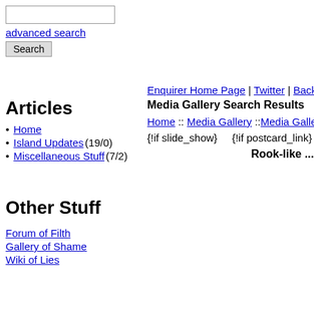advanced search
Search
Articles
Home
Island Updates (19/0)
Miscellaneous Stuff (7/2)
Enquirer Home Page | Twitter | Back to Improba...
Media Gallery Search Results
Home :: Media Gallery :: Media Gallery Search R...
{!if slide_show}     {!if postcard_link}
Rook-like ...
Other Stuff
Forum of Filth
Gallery of Shame
Wiki of Lies